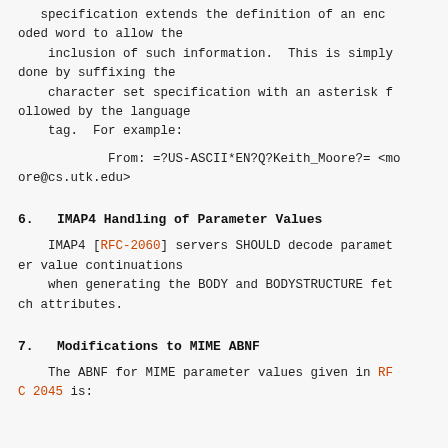specification extends the definition of an encoded word to allow the
    inclusion of such information.  This is simply done by suffixing the
    character set specification with an asterisk followed by the language
    tag.  For example:
From: =?US-ASCII*EN?Q?Keith_Moore?= <moore@cs.utk.edu>
6.   IMAP4 Handling of Parameter Values
IMAP4 [RFC-2060] servers SHOULD decode parameter value continuations
    when generating the BODY and BODYSTRUCTURE fetch attributes.
7.   Modifications to MIME ABNF
The ABNF for MIME parameter values given in RFC 2045 is: